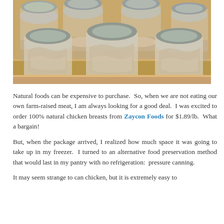[Figure (photo): Multiple glass mason jars filled with canned chicken, packed closely together in a cardboard box. The jars have silver metal lids and contain light-colored chunks of chicken meat.]
Natural foods can be expensive to purchase.  So, when we are not eating our own farm-raised meat, I am always looking for a good deal.  I was excited to order 100% natural chicken breasts from Zaycon Foods for $1.89/lb.  What a bargain!
But, when the package arrived, I realized how much space it was going to take up in my freezer.  I turned to an alternative food preservation method that would last in my pantry with no refrigeration:  pressure canning.
It may seem strange to can chicken, but it is extremely easy to